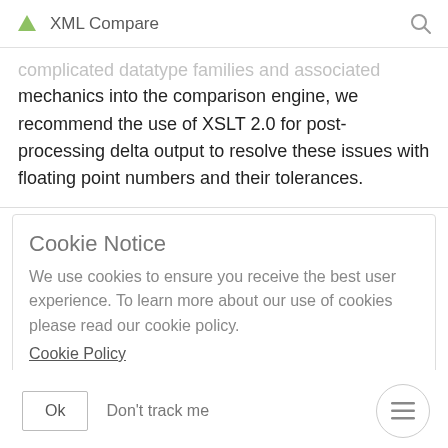XML Compare
complicated datatype families and associated mechanics into the comparison engine, we recommend the use of XSLT 2.0 for post-processing delta output to resolve these issues with floating point numbers and their tolerances.
Cookie Notice
We use cookies to ensure you receive the best user experience. To learn more about our use of cookies please read our cookie policy.
Cookie Policy
Ok   Don't track me